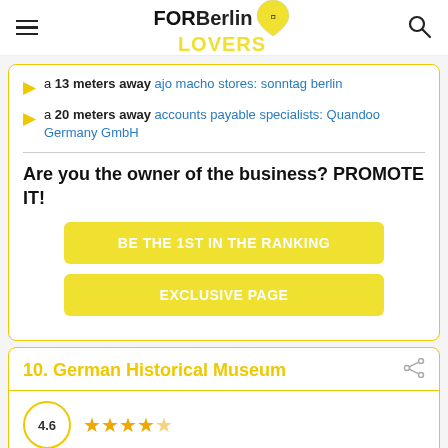FOR Berlin LOVERS
a 13 meters away ajo macho stores: sonntag berlin
a 20 meters away accounts payable specialists: Quandoo Germany GmbH
Are you the owner of the business? PROMOTE IT!
BE THE 1ST IN THE RANKING
EXCLUSIVE PAGE
10. German Historical Museum